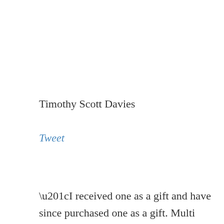Timothy Scott Davies
Tweet
“I received one as a gift and have since purchased one as a gift. Multi caliber,